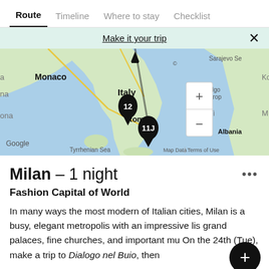Route | Timeline | Where to stay | Checklist
Make it your trip
[Figure (map): Google map showing Italy, Monaco, Rome area with location pins labeled 12 and 11J, Tyrrhenian Sea label, zoom controls, Google attribution, Map Data and Terms of Use links.]
Milan – 1 night
Fashion Capital of World
In many ways the most modern of Italian cities, Milan is a busy, elegant metropolis with an impressive lis grand palaces, fine churches, and important mu On the 24th (Tue), make a trip to Dialogo nel Buio, then